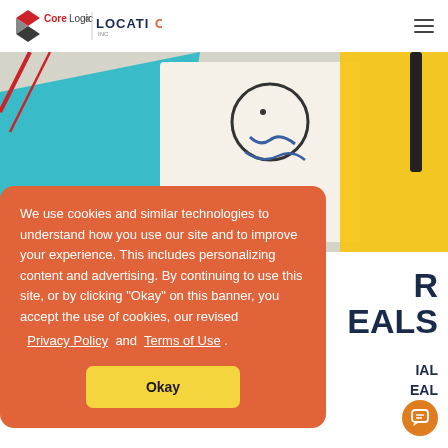CoreLogic | LOCATION INC
[Figure (photo): Close-up photo of colorful paper sheets with a hand-drawn smiley face, teal triangle shape, and yellow background visible]
We use cookies and similar technologies to understand how you use our site and to improve your experience. This includes personalizing content and advertising. By continuing to use this site, or by clicking “Okay” on this banner, you accept the use of cookies, our revised Privacy Policy and Terms of Use .
Okay